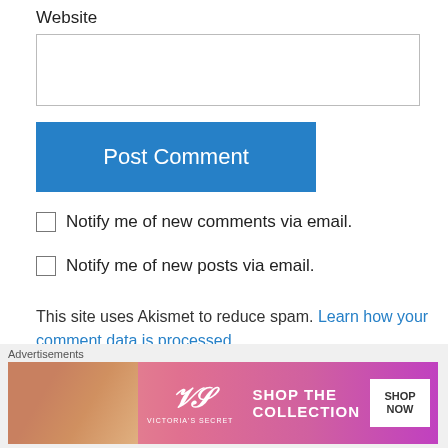Website
[Figure (screenshot): Empty website text input field]
[Figure (screenshot): Post Comment button (blue)]
Notify me of new comments via email.
Notify me of new posts via email.
This site uses Akismet to reduce spam. Learn how your comment data is processed.
Ed Azad on August 14, 2018 at 3:31 pm
Advertisements
[Figure (photo): Victoria's Secret advertisement banner: Shop The Collection - Shop Now]